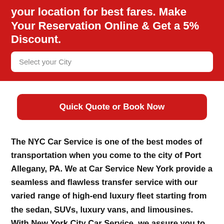your location for best fares. Make Your Reservation Online & Get a 5% Discount.
Select your City
Quick Quote or Book Now
The NYC Car Service is one of the best modes of transportation when you come to the city of Port Allegany, PA. We at Car Service New York provide a seamless and flawless transfer service with our varied range of high-end luxury fleet starting from the sedan, SUVs, luxury vans, and limousines. With New York City Car Service, we assure you to get you the most niche and enticing lifetime experience